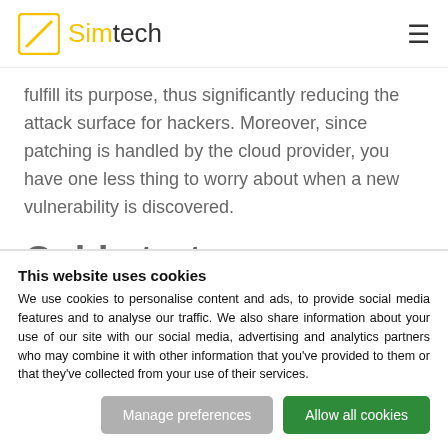Simtech
fulfill its purpose, thus significantly reducing the attack surface for hackers. Moreover, since patching is handled by the cloud provider, you have one less thing to worry about when a new vulnerability is discovered.
Cold starts
Serverless development comes with its particular set of peculiarities and an essential one to get used to is the
This website uses cookies
We use cookies to personalise content and ads, to provide social media features and to analyse our traffic. We also share information about your use of our site with our social media, advertising and analytics partners who may combine it with other information that you've provided to them or that they've collected from your use of their services.
Manage preferences | Allow all cookies